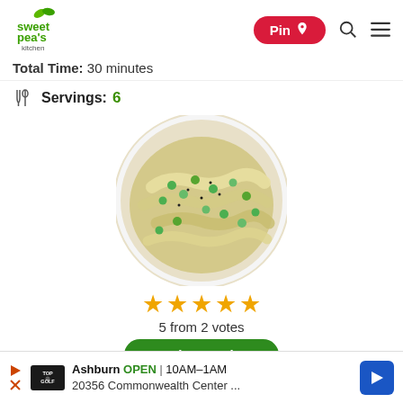sweet peas kitchen | Pin | Search | Menu
Total Time: 30 minutes
Servings: 6
[Figure (photo): A white bowl of creamy chicken noodle soup with green peas, wide egg noodles, and black pepper on top, photographed from above.]
5 from 2 votes
Review Recipe
Ashburn OPEN 10AM–1AM 20356 Commonwealth Center ...